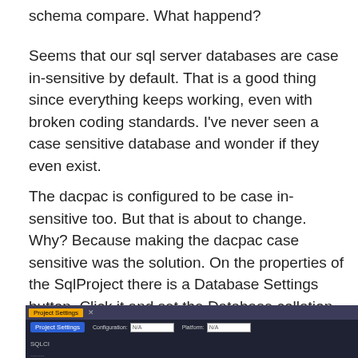schema compare. What happend?
Seems that our sql server databases are case in-sensitive by default. That is a good thing since everything keeps working, even with broken coding standards. I've never seen a case sensitive database and wonder if they even exist.
The dacpac is configured to be case in-sensitive too. But that is about to change. Why? Because making the dacpac case sensitive was the solution. On the properties of the SqlProject there is a Database Settings button. Click it and set the Database collation to something with CS in it. (CS = Case Sensitive) Now the casing updates are synced to our SqlProject and compiled into the dacpac.
[Figure (screenshot): Screenshot of a SQL project settings dialog window showing a dark interface with a blue 'Project Settings' tab, Configuration and Platform dropdowns set to N/A, and SQLCI label visible.]